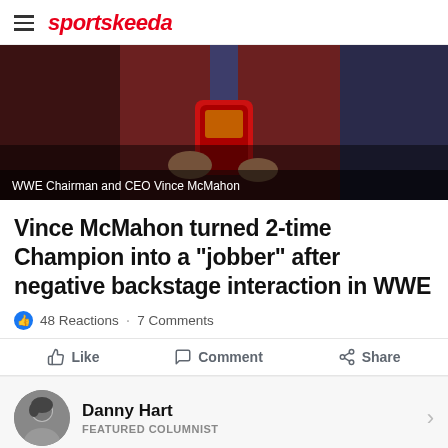sportskeeda
[Figure (photo): A man in a dark red/maroon suit jacket holding a red phone case, with a blue tie visible, dimly lit background. Caption reads: WWE Chairman and CEO Vince McMahon]
WWE Chairman and CEO Vince McMahon
Vince McMahon turned 2-time Champion into a "jobber" after negative backstage interaction in WWE
48 Reactions · 7 Comments
Like  Comment  Share
Danny Hart
FEATURED COLUMNIST